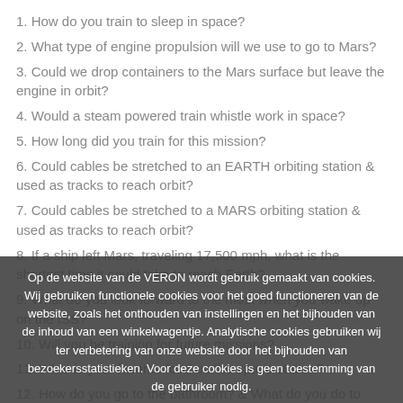1. How do you train to sleep in space?
2. What type of engine propulsion will we use to go to Mars?
3. Could we drop containers to the Mars surface but leave the engine in orbit?
4. Would a steam powered train whistle work in space?
5. How long did you train for this mission?
6. Could cables be stretched to an EARTH orbiting station & used as tracks to reach orbit?
7. Could cables be stretched to a MARS orbiting station & used as tracks to reach orbit?
8. If a ship left Mars, traveling 17,500 mph, what is the shortest time it could take to reach Earth?
9. What do you look forward to the most when you wake up on the ISS?
10. Will you be training for future missions?
11. What is your favorite food on the space station?
12. How do you go to the bathroom? & What do you do to reduce the problem?
13. Are there earth-bound diseases that might be irrelevant in space weightlessness?
14. Is there art on the walls of the ISS or do you see examples of the
Op de website van de VERON wordt gebruik gemaakt van cookies. Wij gebruiken functionele cookies voor het goed functioneren van de website, zoals het onthouden van instellingen en het bijhouden van de inhoud van een winkelwagentje. Analytische cookies gebruiken wij ter verbetering van onze website door het bijhouden van bezoekersstatistieken. Voor deze cookies is geen toestemming van de gebruiker nodig.
Sluiten